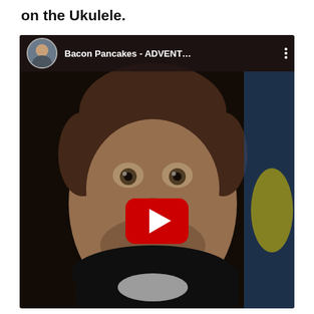on the Ukulele.
[Figure (screenshot): YouTube video thumbnail showing a man with brown hair and beard, mouth open smiling, with YouTube play button overlay. Video title reads 'Bacon Pancakes - ADVENT...' with channel avatar in top left corner.]